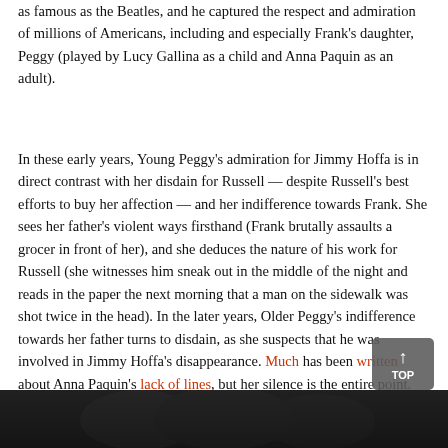as famous as the Beatles, and he captured the respect and admiration of millions of Americans, including and especially Frank's daughter, Peggy (played by Lucy Gallina as a child and Anna Paquin as an adult).
In these early years, Young Peggy's admiration for Jimmy Hoffa is in direct contrast with her disdain for Russell — despite Russell's best efforts to buy her affection — and her indifference towards Frank. She sees her father's violent ways firsthand (Frank brutally assaults a grocer in front of her), and she deduces the nature of his work for Russell (she witnesses him sneak out in the middle of the night and reads in the paper the next morning that a man on the sidewalk was shot twice in the head). In the later years, Older Peggy's indifference towards her father turns to disdain, as she suspects that he was involved in Jimmy Hoffa's disappearance. Much has been written about Anna Paquin's lack of lines, but her silence is the entire point. She's silently judging Frank and is the audience stand-in by doing so.
[Figure (photo): Dark image at bottom of page showing shadowy figures, partially visible]